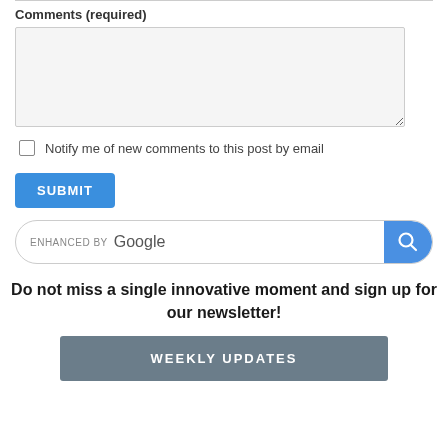Comments (required)
Notify me of new comments to this post by email
SUBMIT
[Figure (screenshot): Google search bar with 'ENHANCED BY Google' text and blue search button with magnifying glass icon]
Do not miss a single innovative moment and sign up for our newsletter!
WEEKLY UPDATES